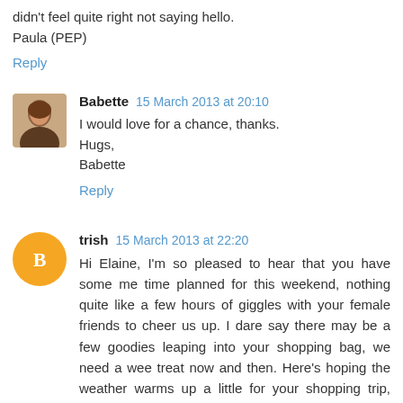didn't feel quite right not saying hello.
Paula (PEP)
Reply
Babette  15 March 2013 at 20:10
I would love for a chance, thanks.
Hugs,
Babette
Reply
trish  15 March 2013 at 22:20
Hi Elaine, I'm so pleased to hear that you have some me time planned for this weekend, nothing quite like a few hours of giggles with your female friends to cheer us up. I dare say there may be a few goodies leaping into your shopping bag, we need a wee treat now and then. Here's hoping the weather warms up a little for your shopping trip, have a lovely time with the girls...Trish